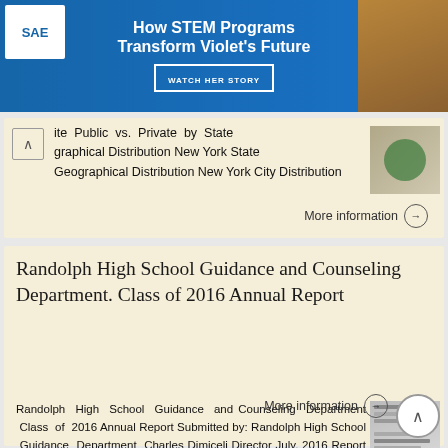[Figure (other): SAE advertisement banner: How STEM Programs Transform Violet's Future with WATCH HER STORY button]
ite Public vs. Private by State graphical Distribution New York State Geographical Distribution New York City Distribution
More information →
Randolph High School Guidance and Counseling Department. Class of 2016 Annual Report
Randolph High School Guidance and Counseling Department Class of 2016 Annual Report Submitted by: Randolph High School Guidance Department Charles Dimiceli Director July, 2016 Report on the Class of 2016
More information →